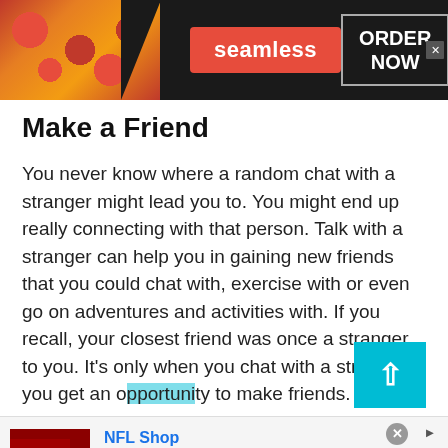[Figure (infographic): Seamless food delivery advertisement banner with pizza image, Seamless logo in red, and ORDER NOW button on dark background]
Make a Friend
You never know where a random chat with a stranger might lead you to. You might end up really connecting with that person. Talk with a stranger can help you in gaining new friends that you could chat with, exercise with or even go on adventures and activities with. If you recall, your closest friend was once a stranger to you. It's only when you chat with a stranger you get an opportunity to make friends.
[Figure (infographic): NFL Shop advertisement with red jersey image, NFL Shop title in blue, free shipping text, shop now button, circular arrow navigation button, and close button]